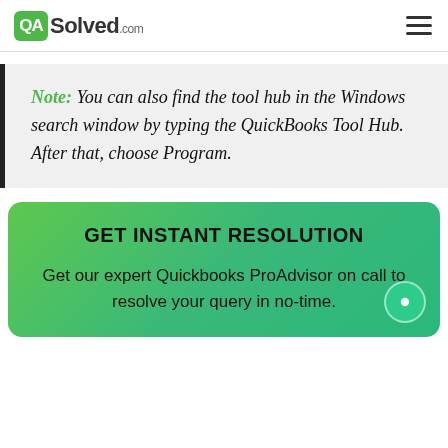QASolved.com
Note: You can also find the tool hub in the Windows search window by typing the QuickBooks Tool Hub. After that, choose Program.
GET INSTANT RESOLUTION
Get our expert Quickbooks ProAdvisor on call to resolve your query in no-time.